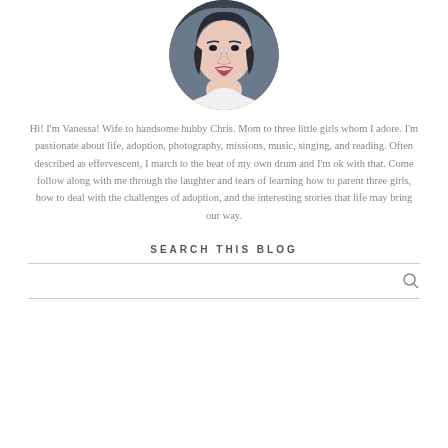[Figure (photo): Circular cropped profile photo of a young woman with short dark hair and red lipstick, wearing a white top, photographed in a car interior.]
Hi! I'm Vanessa! Wife to handsome hubby Chris. Mom to three little girls whom I adore. I'm passionate about life, adoption, photography, missions, music, singing, and reading. Often described as effervescent, I march to the beat of my own drum and I'm ok with that. Come follow along with me through the laughter and tears of learning how to parent three girls, how to deal with the challenges of adoption, and the interesting stories that life may bring our way.
SEARCH THIS BLOG
[Figure (other): Search input field with a magnifying glass icon on the right]